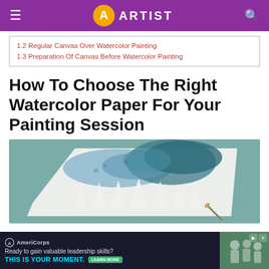≡  ARTIST  🔍
1.2 Regular Canvas Over Watercolor Painting
1.3 Preparation Of Canvas Before Watercolor Painting
How To Choose The Right Watercolor Paper For Your Painting Session
[Figure (photo): Watercolor painting on white paper showing blue and teal washes forming a winter forest scene with white pine tree silhouettes, placed on a teal/grey background]
[Figure (infographic): AmeriCorps advertisement banner: 'Ready to gain valuable leadership skills? THIS IS YOUR MOMENT.' with a Learn More button and a photo of people outdoors]